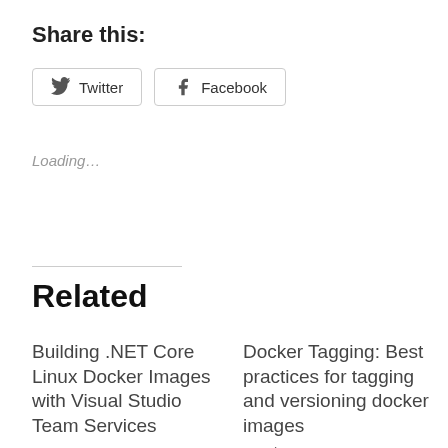Share this:
Twitter  Facebook
Loading…
Related
Building .NET Core Linux Docker Images with Visual Studio Team Services
June 13, 2016
In "Docker"
Docker Tagging: Best practices for tagging and versioning docker images
March 1, 2018
In "Azure"